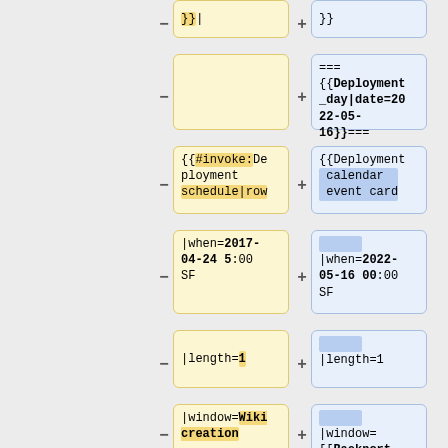[Figure (screenshot): Diff view showing code changes. Left (minus/yellow) and right (plus/blue) columns show old and new wiki template code. Rows show: '}}|' vs '}}', empty vs Deployment_day date block, #invoke:Deployment schedule|row vs Deployment calendar event card, when=2017-04-24 5:00 SF vs when=2022-05-16 00:00 SF, length=1 vs length=1, window=Wiki creation vs window=[[Backport windows|UTC]